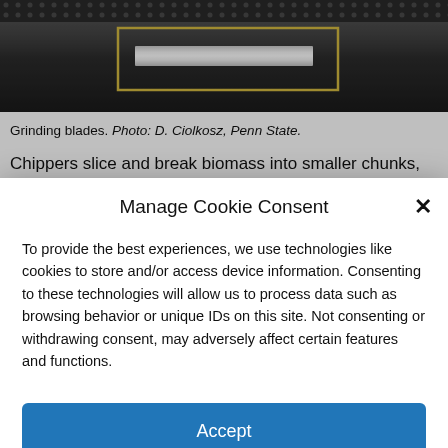[Figure (photo): Close-up photo of grinding blades machinery, dark metal background with a metallic cylindrical bar highlighted in a golden rectangle outline.]
Grinding blades. Photo: D. Ciolkosz, Penn State.
Chippers slice and break biomass into smaller chunks, usually on the order of 70mm (max dimension). The two most common styles are called “drum chippers” and “disk chippers” — named after the shape of the cutting
Manage Cookie Consent
To provide the best experiences, we use technologies like cookies to store and/or access device information. Consenting to these technologies will allow us to process data such as browsing behavior or unique IDs on this site. Not consenting or withdrawing consent, may adversely affect certain features and functions.
Accept
Cookie Policy   Privacy Statement